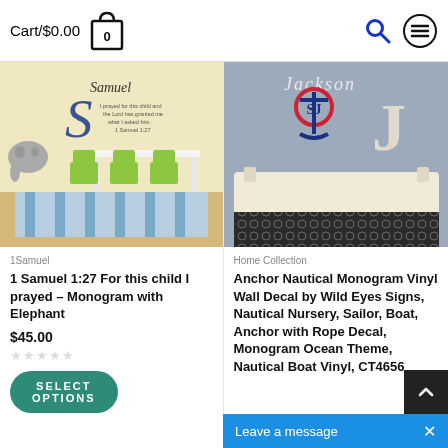Cart/$0.00 [cart icon with 0]
[Figure (photo): Children's room with green chairs and table, blue striped rug, with 'Samuel' monogram and bible verse wall decal and elephant graphic]
1Samuel
1 Samuel 1:27 For this child I prayed – Monogram with Elephant
$45.00
★★★★★ (empty stars rating)
SELECT OPTIONS
[Figure (photo): Nautical nursery with white crib, dark patterned bedding, and anchor monogram wall decal with 'Jackson' name above it]
Home Collection
Anchor Nautical Monogram Vinyl Wall Decal by Wild Eyes Signs, Nautical Nursery, Sailor, Boat, Anchor with Rope Decal, Monogram Ocean Theme, Nautical Boat Vinyl, CT4656
Leave a message  ×